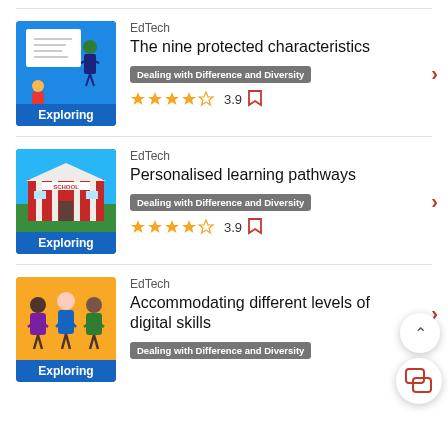[Figure (illustration): Blue background illustration of a teacher pointing at a whiteboard with a student, labeled 'Exploring']
EdTech
The nine protected characteristics
Dealing with Difference and Diversity
3.9
[Figure (illustration): Green background illustration of a school building with 'SCHOOL' text, labeled 'Exploring']
EdTech
Personalised learning pathways
Dealing with Difference and Diversity
3.9
[Figure (illustration): Yellow background illustration of diverse group of students, labeled 'Exploring']
EdTech
Accommodating different levels of digital skills
Dealing with Difference and Diversity